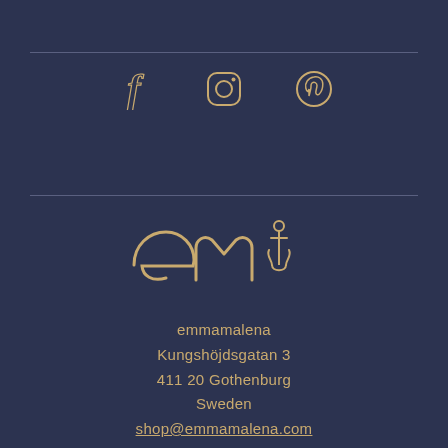[Figure (illustration): Social media icons for Facebook, Instagram, and Pinterest in gold outline style on dark navy background]
[Figure (logo): emmamalena logo — stylized lowercase 'em' letters with an anchor icon, in gold on dark navy]
emmamalena
Kungshöjdsgatan 3
411 20 Gothenburg
Sweden
shop@emmamalena.com
Orgnr. 556799-8959